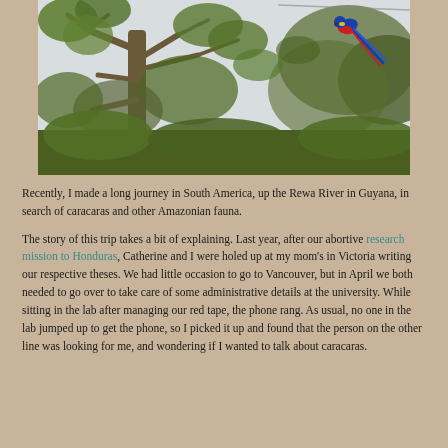[Figure (photo): A photograph of tropical trees with large leafy canopy and bare branches. A colorful bird (macaw or similar) is visible perched in the upper right portion of the image against a pale sky.]
Recently, I made a long journey in South America, up the Rewa River in Guyana, in search of caracaras and other Amazonian fauna.
The story of this trip takes a bit of explaining. Last year, after our abortive research mission to Honduras, Catherine and I were holed up at my mom's in Victoria writing our respective theses. We had little occasion to go to Vancouver, but in April we both needed to go over to take care of some administrative details at the university. While sitting in the lab after managing our red tape, the phone rang. As usual, no one in the lab jumped up to get the phone, so I picked it up and found that the person on the other line was looking for me, and wondering if I wanted to talk about caracaras.